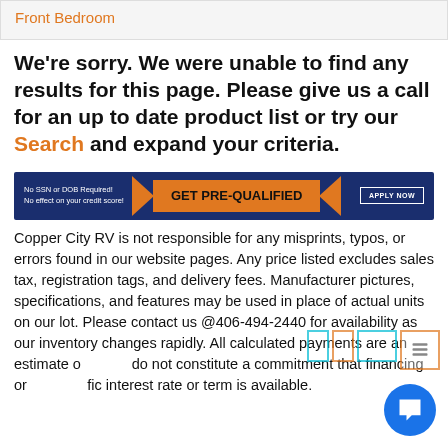Front Bedroom
We're sorry. We were unable to find any results for this page. Please give us a call for an up to date product list or try our Search and expand your criteria.
[Figure (infographic): Blue banner advertisement: 'No SSN or DOB Required! No effect on your credit score!' with orange chevron shape and 'GET PRE-QUALIFIED' text, and 'APPLY NOW' button on right]
Copper City RV is not responsible for any misprints, typos, or errors found in our website pages. Any price listed excludes sales tax, registration tags, and delivery fees. Manufacturer pictures, specifications, and features may be used in place of actual units on our lot. Please contact us @406-494-2440 for availability as our inventory changes rapidly. All calculated payments are an estimate only and do not constitute a commitment that financing or a specific interest rate or term is available.